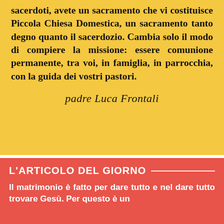sacerdoti, avete un sacramento che vi costituisce Piccola Chiesa Domestica, un sacramento tanto degno quanto il sacerdozio. Cambia solo il modo di compiere la missione: essere comunione permanente, tra voi, in famiglia, in parrocchia, con la guida dei vostri pastori.
padre Luca Frontali
L'ARTICOLO DEL GIORNO
Il matrimonio è fatto per dare tutto e nel dare tutto trovare Gesù. Per questo è un